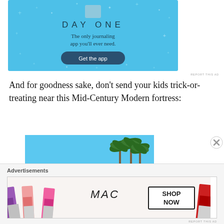[Figure (screenshot): Day One journaling app advertisement with light blue background, star decorations, app icon, 'DAY ONE' title, tagline 'The only journaling app you'll ever need.' and a dark blue 'Get the app' button]
REPORT THIS AD
And for goodness sake, don't send your kids trick-or-treating near this Mid-Century Modern fortress:
[Figure (photo): Photograph of a Mid-Century Modern building exterior with bright blue sky, palm trees, and tropical foliage in the foreground]
Advertisements
[Figure (screenshot): MAC cosmetics advertisement showing lipsticks in purple, pink, and red shades, MAC logo, and 'SHOP NOW' button]
REPORT THIS AD